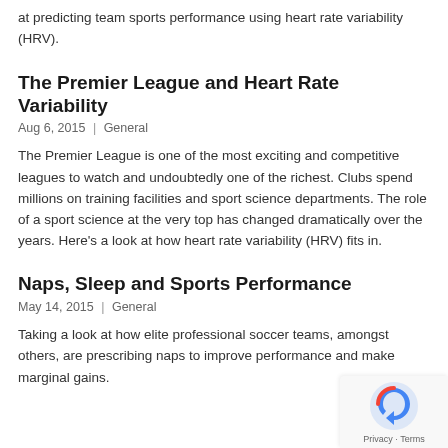at predicting team sports performance using heart rate variability (HRV).
The Premier League and Heart Rate Variability
Aug 6, 2015 | General
The Premier League is one of the most exciting and competitive leagues to watch and undoubtedly one of the richest. Clubs spend millions on training facilities and sport science departments. The role of a sport science at the very top has changed dramatically over the years. Here's a look at how heart rate variability (HRV) fits in.
Naps, Sleep and Sports Performance
May 14, 2015 | General
Taking a look at how elite professional soccer teams, amongst others, are prescribing naps to improve performance and make marginal gains.